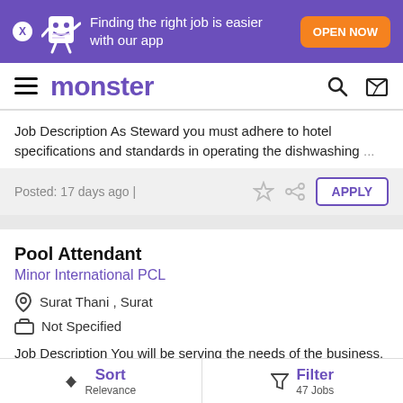[Figure (screenshot): Monster job search app promotional banner with purple background, mascot character, text and orange OPEN NOW button]
monster
Job Description As Steward you must adhere to hotel specifications and standards in operating the dishwashing ...
Posted: 17 days ago |
Pool Attendant
Minor International PCL
Surat Thani , Surat
Not Specified
Job Description You will be serving the needs of the business, guests, and colleagues by effective service delivery in the pool ...
Sort Relevance | Filter 47 Jobs